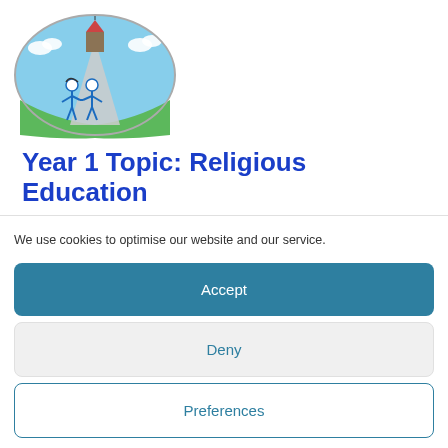[Figure (illustration): School logo: oval illustration with two stick figure children holding hands on a path leading to a building, set against blue sky and green ground]
Year 1 Topic: Religious Education
13.01.21
We use cookies to optimise our website and our service.
Accept
Deny
Preferences